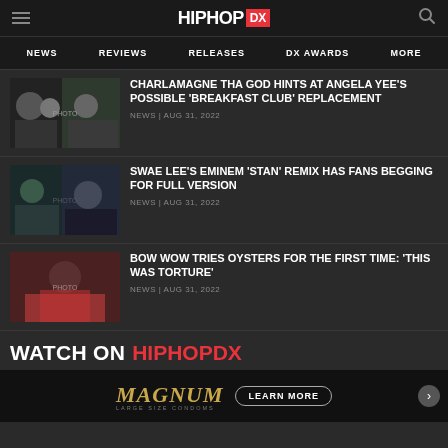HipHopDX
NEWS | REVIEWS | RELEASES | DX AWARDS | MORE
CHARLAMAGNE THA GOD HINTS AT ANGELA YEE'S POSSIBLE 'BREAKFAST CLUB' REPLACEMENT
NEWS | AUG 31, 2022
SWAE LEE'S EMINEM 'STAN' REMIX HAS FANS BEGGING FOR FULL VERSION
NEWS | AUG 31, 2022
BOW WOW TRIES OYSTERS FOR THE FIRST TIME: 'THIS WAS TORTURE'
NEWS | AUG 31, 2022
WATCH ON HIPHOPDX
[Figure (screenshot): Magnum condoms advertisement with LEARN MORE button]